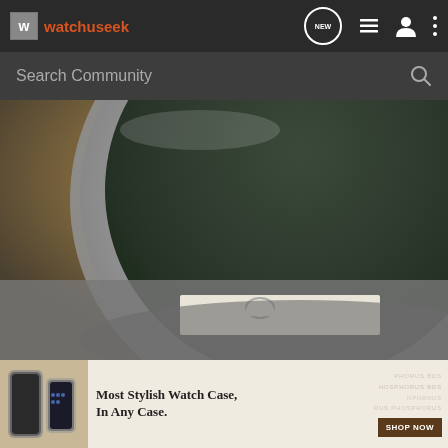watchuseek
Search Community
[Figure (photo): Close-up photo of the back of a watch case, showing the metal caseback and bezel with dark dial visible, with a partial view of papers/documents underneath, resting on a textured surface with warm tones.]
[Figure (photo): Advertisement banner: 'Most Stylish Watch Case, In Any Case.' with a SHOP NOW button, showing a watch case product image on the left and repeated text 'PHOSPHORUS BDS' in background.]
Most Stylish Watch Case, In Any Case.